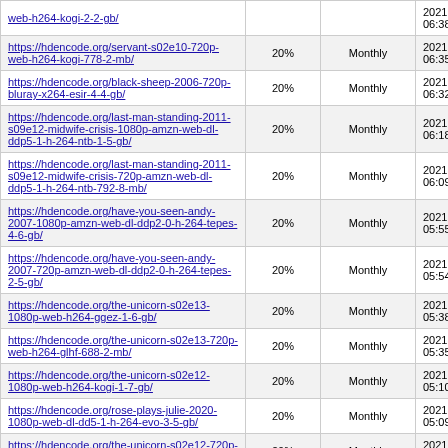| URL | Discount | Frequency | Date |
| --- | --- | --- | --- |
| https://hdencode.org/web-h264-kogi-2-2-gb/ |  |  | 2021-03-19 06:38 |
| https://hdencode.org/servant-s02e10-720p-web-h264-kogi-778-2-mb/ | 20% | Monthly | 2021-03-19 06:35 |
| https://hdencode.org/black-sheep-2006-720p-bluray-x264-esir-4-4-gb/ | 20% | Monthly | 2021-03-19 06:32 |
| https://hdencode.org/last-man-standing-2011-s09e12-midwife-crisis-1080p-amzn-web-dl-ddp5-1-h-264-ntb-1-5-gb/ | 20% | Monthly | 2021-03-19 06:18 |
| https://hdencode.org/last-man-standing-2011-s09e12-midwife-crisis-720p-amzn-web-dl-ddp5-1-h-264-ntb-792-8-mb/ | 20% | Monthly | 2021-03-19 06:09 |
| https://hdencode.org/have-you-seen-andy-2007-1080p-amzn-web-dl-ddp2-0-h-264-tepes-4-6-gb/ | 20% | Monthly | 2021-03-19 05:55 |
| https://hdencode.org/have-you-seen-andy-2007-720p-amzn-web-dl-ddp2-0-h-264-tepes-2-5-gb/ | 20% | Monthly | 2021-03-19 05:54 |
| https://hdencode.org/the-unicorn-s02e13-1080p-web-h264-ggez-1-6-gb/ | 20% | Monthly | 2021-03-19 05:38 |
| https://hdencode.org/the-unicorn-s02e13-720p-web-h264-glhf-688-2-mb/ | 20% | Monthly | 2021-03-19 05:35 |
| https://hdencode.org/the-unicorn-s02e12-1080p-web-h264-kogi-1-7-gb/ | 20% | Monthly | 2021-03-19 05:10 |
| https://hdencode.org/rose-plays-julie-2020-1080p-web-dl-dd5-1-h-264-evo-3-5-gb/ | 20% | Monthly | 2021-03-19 05:09 |
| https://hdencode.org/the-unicorn-s02e12-720p-web-h264-kogi-761-7-mb/ | 20% | Monthly | 2021-03-19 05:07 |